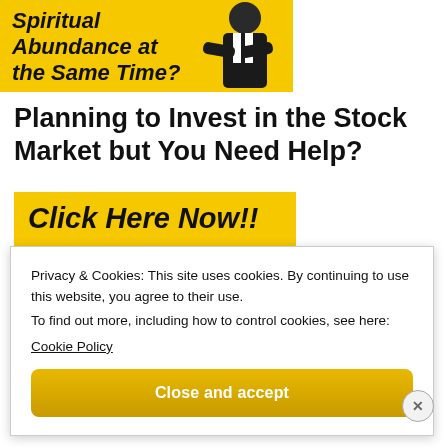[Figure (illustration): Yellow banner with bold black italic text 'Spiritual Abundance at the Same Time?' and a person in a dark suit with arms crossed on the right side of the banner.]
Planning to Invest in the Stock Market but You Need Help?
[Figure (illustration): Yellow box with bold black italic text 'Click Here Now!!' followed by a partial yellow sub-bar below.]
Privacy & Cookies: This site uses cookies. By continuing to use this website, you agree to their use.
To find out more, including how to control cookies, see here: Cookie Policy
Close and accept